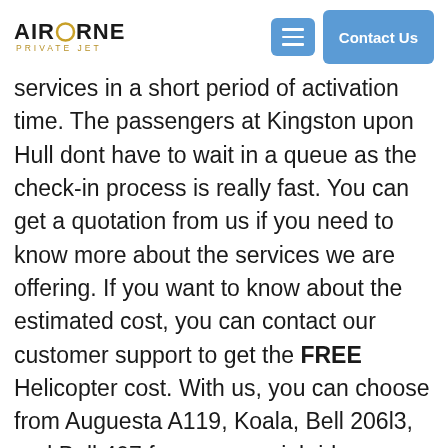AIRBORNE PRIVATE JET — Navigation header with menu and Contact Us button
services in a short period of activation time. The passengers at Kingston upon Hull dont have to wait in a queue as the check-in process is really fast. You can get a quotation from us if you need to know more about the services we are offering. If you want to know about the estimated cost, you can contact our customer support to get the FREE Helicopter cost. With us, you can choose from Auguesta A119, Koala, Bell 206l3, and Bell 407 for your special rides.